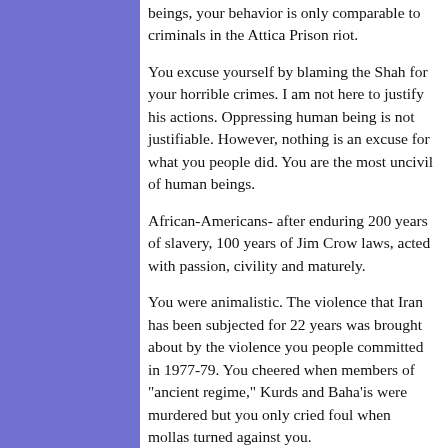beings, your behavior is only comparable to criminals in the Attica Prison riot.
You excuse yourself by blaming the Shah for your horrible crimes. I am not here to justify his actions. Oppressing human being is not justifiable. However, nothing is an excuse for what you people did. You are the most uncivil of human beings.
African-Americans- after enduring 200 years of slavery, 100 years of Jim Crow laws, acted with passion, civility and maturely.
You were animalistic. The violence that Iran has been subjected for 22 years was brought about by the violence you people committed in 1977-79. You cheered when members of "ancient regime," Kurds and Baha'is were murdered but you only cried foul when mollas turned against you.
Abe Lincoln said you can fool all the people some of the time, you can fool some people all the time, but you can never fool all the people all the time.